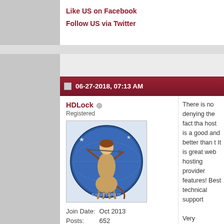Like US on Facebook
Follow US via Twitter
06-27-2018, 07:13 AM
HDLock
Registered
[Figure (illustration): Forum user avatar showing a Sagittarius zodiac illustration with a blue circular background]
Join Date: Oct 2013
Posts: 652
There is no denying the fact tha host is a good and better than t It is great web hosting provider features! Best technical support

Very reasonable monthly charg
Top 100 Best Hollywood
Quick Naviga
« Previous Thread | Next Thread